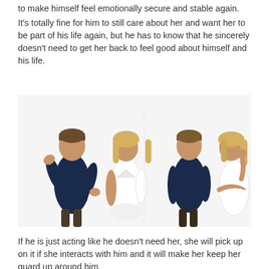to make himself feel emotionally secure and stable again.
It's totally fine for him to still care about her and want her to be part of his life again, but he has to know that he sincerely doesn't need to get her back to feel good about himself and his life.
[Figure (photo): Two couples shown side by side against white background. Left: a man in dark navy polo shirt gesturing with hands while a blonde woman in white top looks at him. Right: same man standing behind the woman who looks away pensively with arms crossed and hand on cheek.]
If he is just acting like he doesn't need her, she will pick up on it if she interacts with him and it will make her keep her guard up around him.